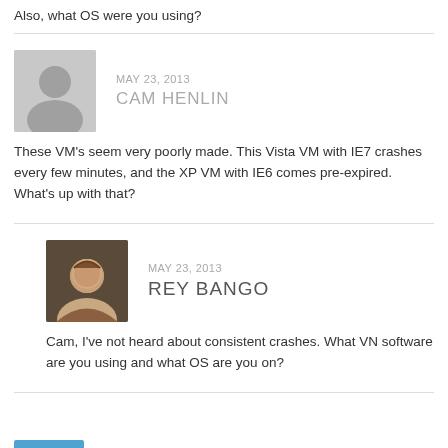Also, what OS were you using?
MAY 23, 2013
CAM HENLIN
These VM's seem very poorly made. This Vista VM with IE7 crashes every few minutes, and the XP VM with IE6 comes pre-expired. What's up with that?
MAY 23, 2013
REY BANGO
Cam, I've not heard about consistent crashes. What VN software are you using and what OS are you on?